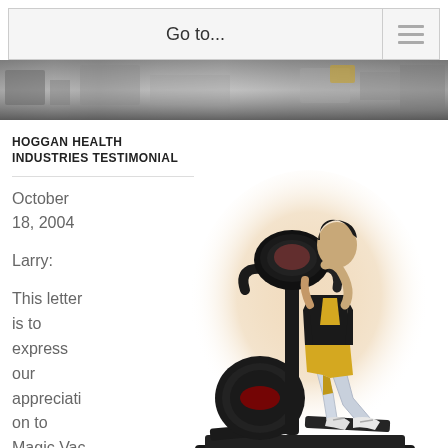Go to...
[Figure (photo): Hero banner image showing a gym/warehouse environment with equipment]
HOGGAN HEALTH INDUSTRIES TESTIMONIAL
October 18, 2004
Larry:
This letter is to express our appreciation to Magic Vac
[Figure (illustration): Illustration of a person using a dark elliptical/stair-climbing exercise machine, with a warm peach/cream background glow]